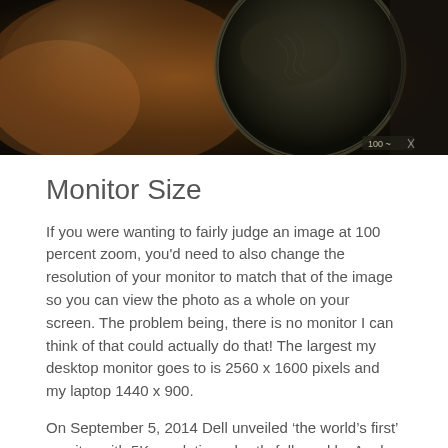[Figure (photo): A dark, close-up photograph showing what appears to be a zoomed-in image of a magnifying glass over an old painting (Mona Lisa area), with a dark background and a small zoom indicator showing '100' in the bottom right corner.]
Monitor Size
If you were wanting to fairly judge an image at 100 percent zoom, you'd need to also change the resolution of your monitor to match that of the image so you can view the photo as a whole on your screen. The problem being, there is no monitor I can think of that could actually do that! The largest my desktop monitor goes to is 2560 x 1600 pixels and my laptop 1440 x 900.
On September 5, 2014 Dell unveiled ‘the world’s first’ monitor with 5K resolution, shortly followed by Apple when they released a new iMac with same size and 5120 x 2880 resolution. With many entry model DSLR